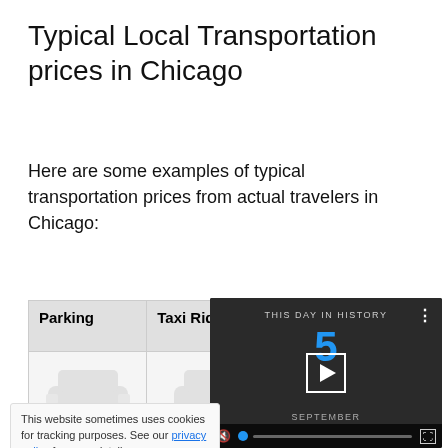Typical Local Transportation prices in Chicago
Here are some examples of typical transportation prices from actual travelers in Chicago:
| Parking | Taxi Ride | Taxi from Airport |
| --- | --- | --- |
| $19 |  |  |
This website sometimes uses cookies for tracking purposes. See our privacy policy for more details.
[Figure (screenshot): Video overlay showing 'This Day in History' with date September 5, play button, progress bar, and video controls]